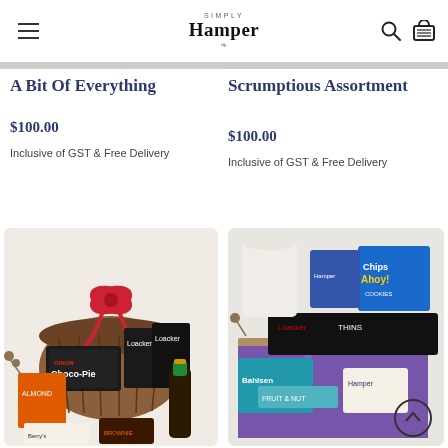Simply Hamper
A Bit Of Everything
$100.00
Inclusive of GST & Free Delivery
Scrumptious Assortment
$100.00
Inclusive of GST & Free Delivery
[Figure (photo): Gift hamper basket with red bow, containing Choco-Pie, Loacker wafers, almond cookies, brownie slice, and a bottle of champagne]
[Figure (photo): Gift hamper box with Chips Ahoy, Loacker Thins, Bahlsen biscuits, Fruit & Nut bar, and other snacks arranged in a decorative box]